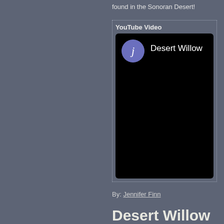found in the Sonoran Desert!
YouTube Video
[Figure (screenshot): YouTube video thumbnail showing a black screen with a blue circular avatar with letter 'j' and text 'Desert Willow']
By: Jennifer Finn
Desert Willow